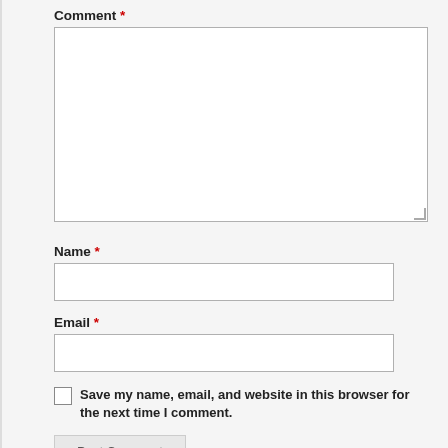Comment *
Name *
Email *
Save my name, email, and website in this browser for the next time I comment.
Post Comment